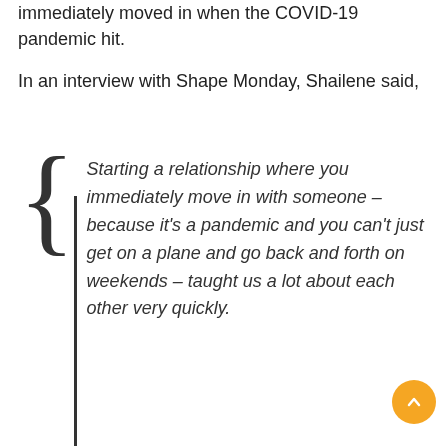immediately moved in when the COVID-19 pandemic hit.
In an interview with Shape Monday, Shailene said,
Starting a relationship where you immediately move in with someone – because it's a pandemic and you can't just get on a plane and go back and forth on weekends – taught us a lot about each other very quickly.